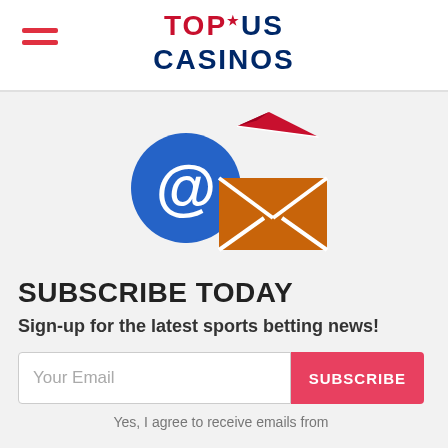TOP US CASINOS
[Figure (illustration): Blue @ speech bubble icon and orange envelope with red paper airplane, representing email/newsletter signup]
SUBSCRIBE TODAY
Sign-up for the latest sports betting news!
Your Email [input field] SUBSCRIBE [button]
Yes, I agree to receive emails from